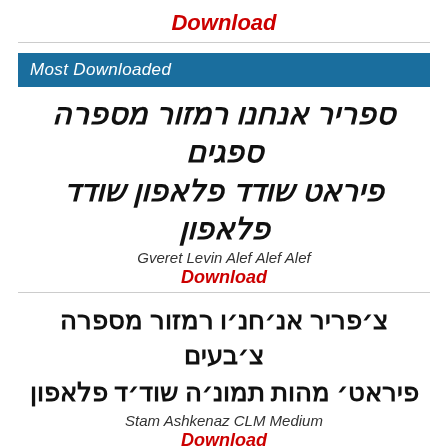Download
[Figure (other): Blue banner with text 'Most Downloaded']
ספריר אנחנו רמזור מספרה ספגים
פיראט שודד פלאפון שודד פלאפון
Gveret Levin Alef Alef Alef
Download
צ׳פריר אנ׳חנ׳ו רמזור מספרה צ׳בעים
פיראט׳ מהות תמונ׳ה שוד׳ד פלאפון
Stam Ashkenaz CLM Medium
Download